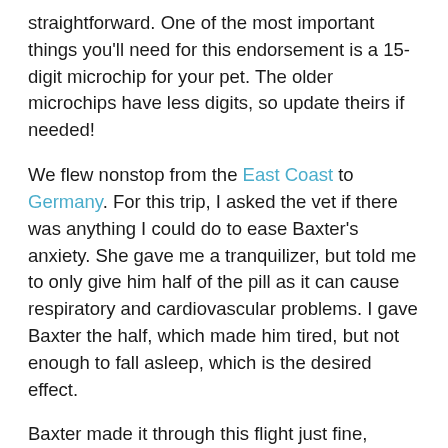straightforward. One of the most important things you'll need for this endorsement is a 15-digit microchip for your pet. The older microchips have less digits, so update theirs if needed!
We flew nonstop from the East Coast to Germany. For this trip, I asked the vet if there was anything I could do to ease Baxter's anxiety. She gave me a tranquilizer, but told me to only give him half of the pill as it can cause respiratory and cardiovascular problems. I gave Baxter the half, which made him tired, but not enough to fall asleep, which is the desired effect.
Baxter made it through this flight just fine, though he was very ready to get out of his crate when we arrived. We've since made this long trip 4 times (2 roundtrips). The second time he walked out of his crate like he owned the place, just ecstatic to see his grandparents.
When flying back from Germany to the US, we needed a health certificate from the vet authority (different from a regular vet), which was 15 € (opposed to the 200 US $ in the USA) and was a simple process.